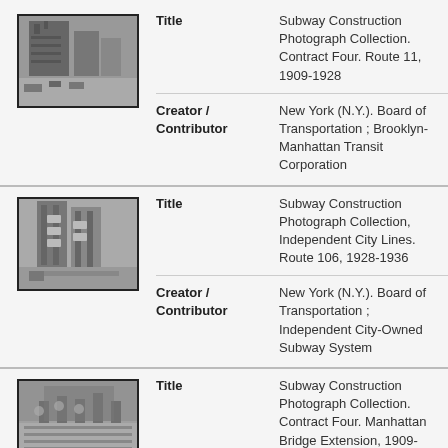[Figure (photo): Black and white historical photo of subway construction, street scene with building and vehicles]
Title: Subway Construction Photograph Collection. Contract Four. Route 11, 1909-1928
Creator / Contributor: New York (N.Y.). Board of Transportation ; Brooklyn-Manhattan Transit Corporation
[Figure (photo): Black and white historical photo of tall buildings under construction]
Title: Subway Construction Photograph Collection, Independent City Lines. Route 106, 1928-1936
Creator / Contributor: New York (N.Y.). Board of Transportation ; Independent City-Owned Subway System
[Figure (photo): Black and white historical photo of subway construction site, workers and excavation]
Title: Subway Construction Photograph Collection. Contract Four. Manhattan Bridge Extension, 1909-1926
Creator / Contributor: New York (N.Y.). Board of Transportation ; Brooklyn-Manhattan Transit Corporation
[Figure (photo): Black and white historical photo of building exterior]
Title: Subway Construction Photograph Collection. Contract Four. Route 9-C-1.